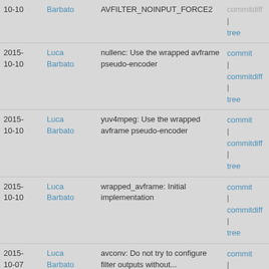| Date | Author | Commit message | Links |
| --- | --- | --- | --- |
| 2015-10-10 | Luca Barbato | nullenc: Use the wrapped avframe pseudo-encoder | commit | commitdiff | tree |
| 2015-10-10 | Luca Barbato | yuv4mpeg: Use the wrapped avframe pseudo-encoder | commit | commitdiff | tree |
| 2015-10-10 | Luca Barbato | wrapped_avframe: Initial implementation | commit | commitdiff | tree |
| 2015-10-07 | Luca Barbato | avconv: Do not try to configure filter outputs without... | commit | commitdiff | tree |
| 2015-10-07 | Luca Barbato | configure: When disabling a library disable all the... | commit | commitdiff | tree |
| 2015-10-01 | Luca Barbato | hls: Check av_opt_set_dict return value as well | commit | commitdiff | tree |
| 2015-09-30 | Luca Barbato | build: Add support for known custom allocators | commit | commitdiff |